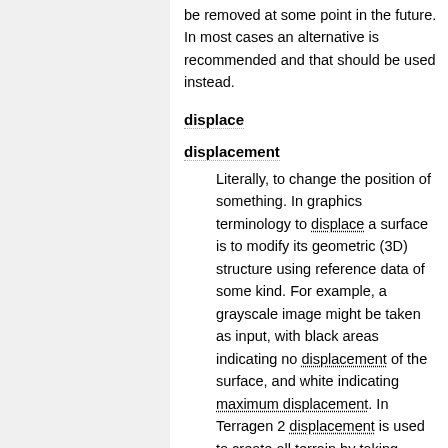be removed at some point in the future. In most cases an alternative is recommended and that should be used instead.
displace
displacement
Literally, to change the position of something. In graphics terminology to displace a surface is to modify its geometric (3D) structure using reference data of some kind. For example, a grayscale image might be taken as input, with black areas indicating no displacement of the surface, and white indicating maximum displacement. In Terragen 2 displacement is used to create all terrain by taking heightfield or procedural data as input and using it to displace the overall offset and...